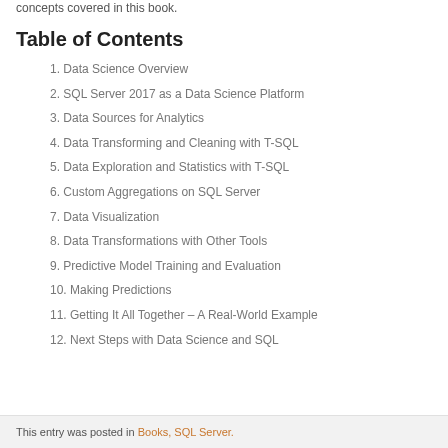concepts covered in this book.
Table of Contents
1. Data Science Overview
2. SQL Server 2017 as a Data Science Platform
3. Data Sources for Analytics
4. Data Transforming and Cleaning with T-SQL
5. Data Exploration and Statistics with T-SQL
6. Custom Aggregations on SQL Server
7. Data Visualization
8. Data Transformations with Other Tools
9. Predictive Model Training and Evaluation
10. Making Predictions
11. Getting It All Together – A Real-World Example
12. Next Steps with Data Science and SQL
This entry was posted in Books, SQL Server.